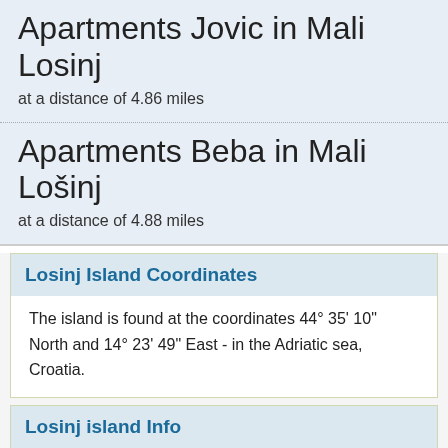Apartments Jovic in Mali Losinj
at a distance of 4.86 miles
Apartments Beba in Mali Lošinj
at a distance of 4.88 miles
Losinj Island Coordinates
The island is found at the coordinates 44° 35' 10" North and 14° 23' 49" East - in the Adriatic sea, Croatia.
Losinj island Info